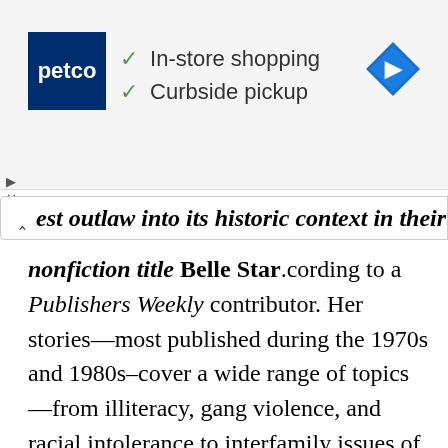[Figure (screenshot): Petco advertisement banner showing Petco logo, checkmarks for 'In-store shopping' and 'Curbside pickup', and a blue navigation diamond icon]
est outlaw into its historic context in their nonfiction title Belle Star
cording to a Publishers Weekly contributor. Her stories—most published during the 1970s and 1980s–cover a wide range of topics—from illiteracy, gang violence, and racial intolerance to interfamily issues of divorce and dealing with elderly relatives' senility. Blue's 1979 novel Cold Rain on the Water, a story of Russian immigrants, was selected a best book of the year by the National Council for the Social Studies.